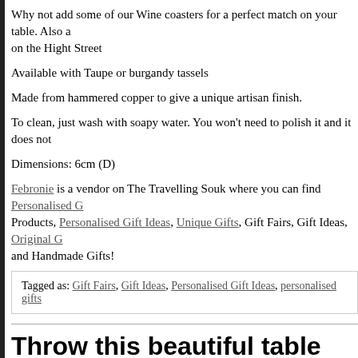Why not add some of our Wine coasters for a perfect match on your table. Also available on the Hight Street
Available with Taupe or burgandy tassels
Made from hammered copper to give a unique artisan finish.
To clean, just wash with soapy water. You won't need to polish it and it does not
Dimensions: 6cm (D)
Febronie is a vendor on The Travelling Souk where you can find Personalised G Products, Personalised Gift Ideas, Unique Gifts, Gift Fairs, Gift Ideas, Original G and Handmade Gifts!
Tagged as: Gift Fairs, Gift Ideas, Personalised Gift Ideas, personalised gifts
Throw this beautiful table cloth and brighten up your patio table
A stunning hand loomed cotton table cloth to brighten your interior.
The fouta is traditionally a hamam towel. We have developed a lovely range of F